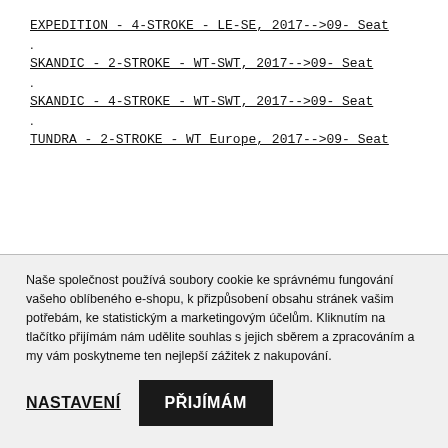EXPEDITION - 4-STROKE - LE-SE, 2017-->09- Seat
.
SKANDIC - 2-STROKE - WT-SWT, 2017-->09- Seat
.
SKANDIC - 4-STROKE - WT-SWT, 2017-->09- Seat
.
TUNDRA - 2-STROKE - WT Europe, 2017-->09- Seat
Naše společnost používá soubory cookie ke správnému fungování vašeho oblíbeného e-shopu, k přizpůsobení obsahu stránek vašim potřebám, ke statistickým a marketingovým účelům. Kliknutím na tlačítko přijímám nám udělite souhlas s jejich sběrem a zpracováním a my vám poskytneme ten nejlepší zážitek z nakupování.
NASTAVENÍ
PŘIJÍMÁM